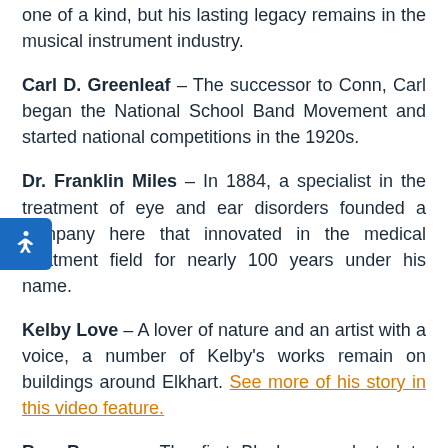one of a kind, but his lasting legacy remains in the musical instrument industry.
Carl D. Greenleaf – The successor to Conn, Carl began the National School Band Movement and started national competitions in the 1920s.
Dr. Franklin Miles – In 1884, a specialist in the treatment of eye and ear disorders founded a company here that innovated in the medical treatment field for nearly 100 years under his name.
Kelby Love – A lover of nature and an artist with a voice, a number of Kelby's works remain on buildings around Elkhart. See more of his story in this video feature.
Ben Barnes – The first Black man elected to county office, Ben meant everything to Elkhart and Elkhart meant everything to him. He was a published author